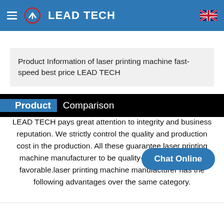LEAD TECH
Product Information of laser printing machine fast-speed best price LEAD TECH
Product Comparison
LEAD TECH pays great attention to integrity and business reputation. We strictly control the quality and production cost in the production. All these guarantee laser printing machine manufacturer to be quality-reliable and price-favorable.laser printing machine manufacturer has the following advantages over the same category.